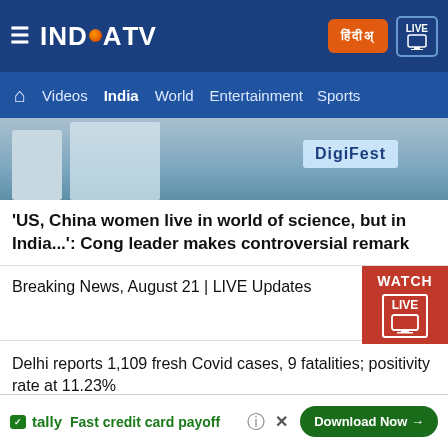India TV — Header navigation bar with logo, Hindi button, and Live TV button. Navigation: Home, Videos, India, World, Entertainment, Sports
[Figure (photo): Hero image showing a banner with 'DigiFest' text and a partial figure in the foreground]
'US, China women live in world of science, but in India...': Cong leader makes controversial remark
Breaking News, August 21 | LIVE Updates
[Figure (other): WATCH LIVE badge — red rectangle with WATCH text and TV monitor icon]
Delhi reports 1,109 fresh Covid cases, 9 fatalities; positivity rate at 11.23%
Delhi excise policy: CBI begins quizzing accused, shares FIR with ED
Chhattisgarh: Two killed in separate elephant attacks in Jashpur
[Figure (other): Tally advertisement banner: Fast credit card payoff — Download Now button]